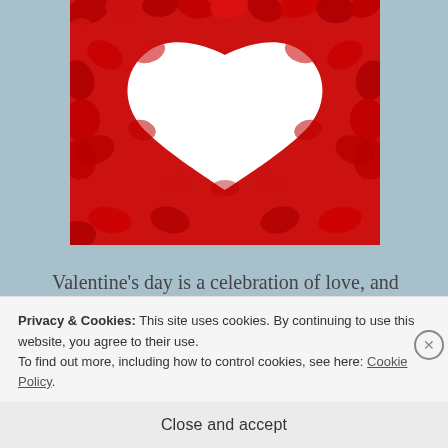[Figure (photo): Photo of red rose petals arranged in a heart shape on a white background, forming a hollow heart silhouette in the center]
Valentine's day is a celebration of love, and we all think of it as celebrating romantic love
Privacy & Cookies: This site uses cookies. By continuing to use this website, you agree to their use. To find out more, including how to control cookies, see here: Cookie Policy.
Close and accept